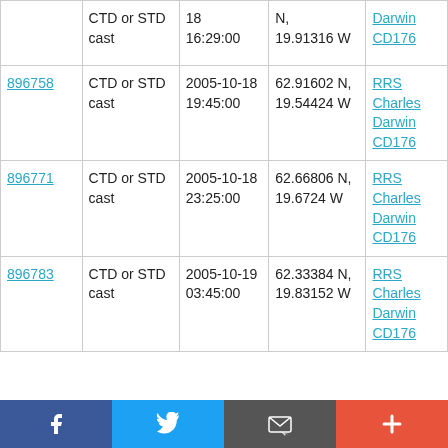| ID | Type | Date/Time | Position | Cruise |
| --- | --- | --- | --- | --- |
|  | CTD or STD cast | 18
16:29:00 | N,
19.91316 W | Darwin
CD176 |
| 896758 | CTD or STD cast | 2005-10-18
19:45:00 | 62.91602 N,
19.54424 W | RRS Charles Darwin
CD176 |
| 896771 | CTD or STD cast | 2005-10-18
23:25:00 | 62.66806 N,
19.6724 W | RRS Charles Darwin
CD176 |
| 896783 | CTD or STD cast | 2005-10-19
03:45:00 | 62.33384 N,
19.83152 W | RRS Charles Darwin
CD176 |